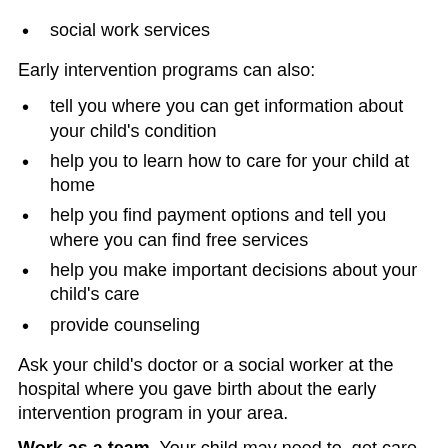social work services
Early intervention programs can also:
tell you where you can get information about your child's condition
help you to learn how to care for your child at home
help you find payment options and tell you where you can find free services
help you make important decisions about your child's care
provide counseling
Ask your child's doctor or a social worker at the hospital where you gave birth about the early intervention program in your area.
Work as a team. Your child may need to get care from